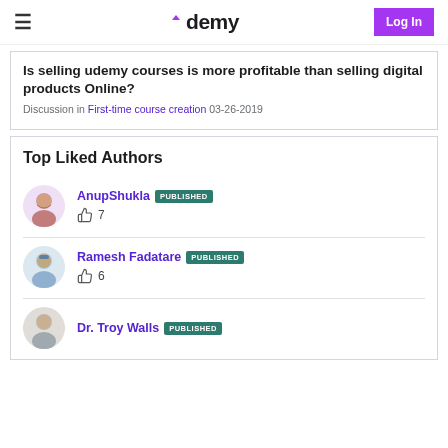Udemy | Log In
Is selling udemy courses is more profitable than selling digital products Online?
Discussion in First-time course creation 03-26-2019
Top Liked Authors
AnupShukla PUBLISHED — 7 likes
Ramesh Fadatare PUBLISHED — 6 likes
Dr. Troy Walls PUBLISHED